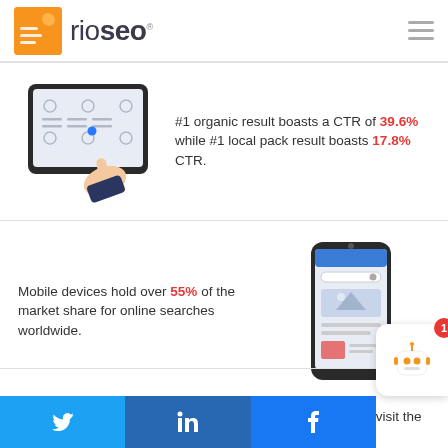[Figure (logo): Rio SEO logo with orange square icon and text 'rio seo']
#1 organic result boasts a CTR of 39.6% while #1 local pack result boasts 17.8% CTR.
[Figure (illustration): Hand pointing at a tablet screen with search results]
Mobile devices hold over 55% of the market share for online searches worldwide.
[Figure (illustration): Smartphone with a web page displayed]
[Figure (illustration): Storefront with blue awnings illustration]
76% of local mobile searchers visit the